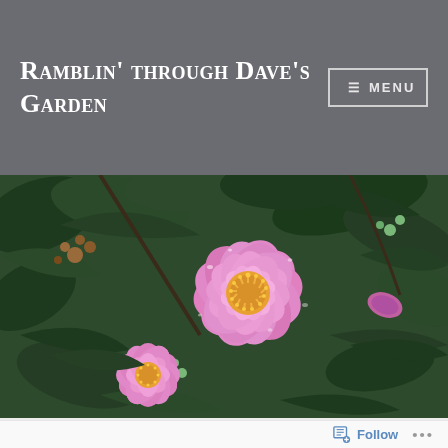Ramblin' through Dave's Garden  ≡ MENU
[Figure (photo): Close-up photograph of a large pink camellia flower with yellow stamens in the center, surrounded by dark green foliage. A smaller pink camellia bud is visible in the lower left. Water droplets are visible on the petals.]
Follow  ...